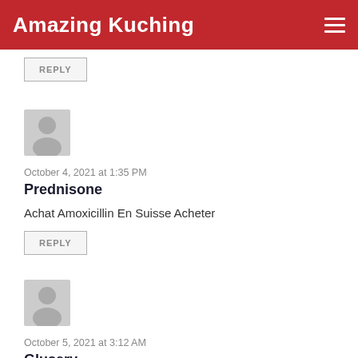Amazing Kuching
REPLY
[Figure (illustration): Generic grey user avatar silhouette icon]
October 4, 2021 at 1:35 PM
Prednisone
Achat Amoxicillin En Suisse Acheter
REPLY
[Figure (illustration): Generic grey user avatar silhouette icon]
October 5, 2021 at 3:12 AM
Glusery